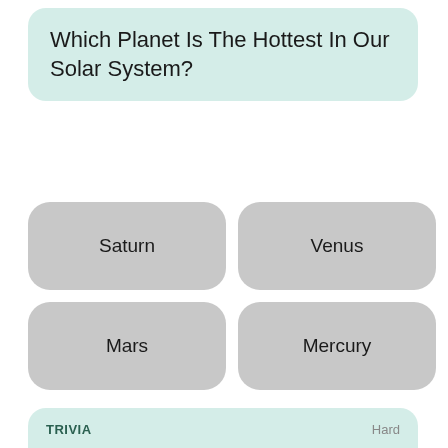Which Planet Is The Hottest In Our Solar System?
Saturn
Venus
Mars
Mercury
TRIVIA
Hard
Which Of These Planets Has Three Different Rotational